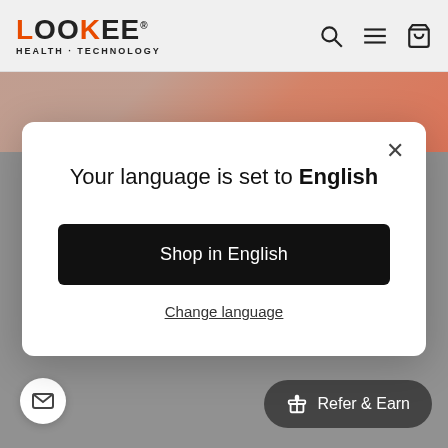[Figure (screenshot): LOOKEE Health-Technology website navbar with logo and icons (search, menu, cart)]
[Figure (photo): Blurred skin-tone background photo strip behind modal]
[Figure (screenshot): Language selection modal dialog with close button, title 'Your language is set to English', black 'Shop in English' button, and 'Change language' link]
Your language is set to English
Shop in English
Change language
[Figure (screenshot): Refer & Earn dark pill button at bottom right, and email icon circle at bottom left]